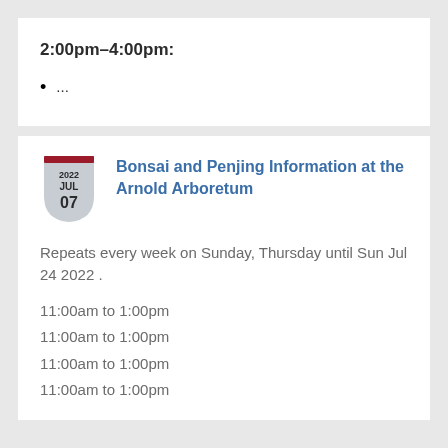2:00pm–4:00pm:
...
Bonsai and Penjing Information at the Arnold Arboretum
Repeats every week on Sunday, Thursday until Sun Jul 24 2022 .
11:00am to 1:00pm
11:00am to 1:00pm
11:00am to 1:00pm
11:00am to 1:00pm